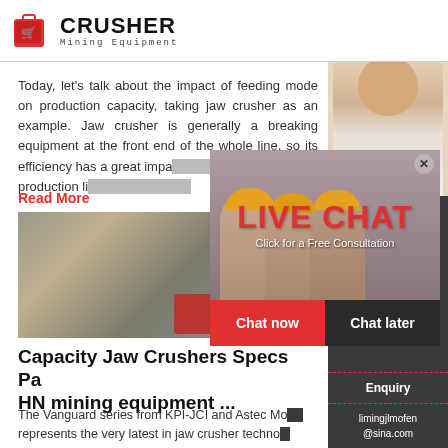[Figure (logo): CRUSHER Mining Equipment logo with red shopping bag icon and bold text]
Today, let's talk about the impact of feeding mode on production capacity, taking jaw crusher as an example. Jaw crusher is generally a breaking equipment at the front end of the whole line, so its efficiency has a great impact on the production line, and feeding is
Read More
[Figure (photo): Photo of crushed stone aggregate with red mining equipment in background]
Capacity Jaw Crushers Specs Pa HN mining equipment ...
The Vanguard series from KPI-JCI and Astec Mo represents the very latest in jaw crusher techno Engineered to be the highest capacity jaw crusher on the
[Figure (photo): Live Chat overlay with workers in yellow hard hats. Shows LIVE CHAT text, Click for a Free Consultation, Chat now and Chat later buttons.]
[Figure (photo): Right sidebar showing 24Hrs Online, female customer service agent with headset, Need questions & suggestion section, Chat Now button, Enquiry section, and limingjlmofen@sina.com email]
Need questions & suggestion?
Chat Now
Enquiry
limingjlmofen@sina.com